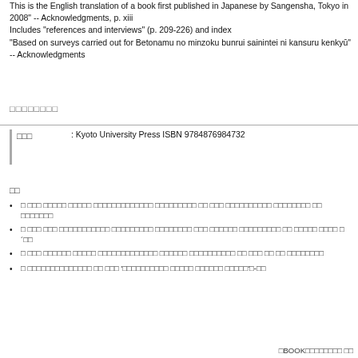This is the English translation of a book first published in Japanese by Sangensha, Tokyo in 2008" -- Acknowledgments, p. xiii Includes "references and interviews" (p. 209-226) and index "Based on surveys carried out for Betonamu no minzoku bunrui sainintei ni kansuru kenkyū" -- Acknowledgments
□□□□□□□□
| □□□ | : Kyoto University Press ISBN 9784876984732 |
| --- | --- |
□□
□  □□□  □□□□□  □□□□□  □□□□□□□□□□□□□  □□□□□□□□□  □□  □□□  □□□□□□□□□□ □□□□□□□□  □□  □□□□□□□
□  □□□  □□□  □□□□□□□□□□□  □□□□□□□□□  □□□□□□□□  □□□  □□□□□□  □□□□□□□□□ □□  □□□□□  □□□□  □´□□
□  □□□  □□□□□□  □□□□□  □□□□□□□□□□□□□  □□□□□□  □□□□□□□□□□  □□  □□□  □□ □□  □□□□□□□□
□  □□□□□□□□□□□□□□  □□  □□□  '□□□□□□□□□□  □□□□□  □□□□□□  □□□□□'□-□□
□BOOK□□□□□□□□ □□